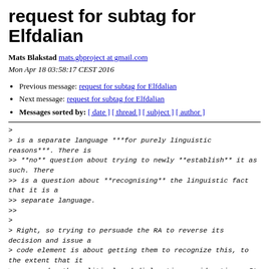request for subtag for Elfdalian
Mats Blakstad mats.gbproject at gmail.com
Mon Apr 18 03:58:17 CEST 2016
Previous message: request for subtag for Elfdalian
Next message: request for subtag for Elfdalian
Messages sorted by: [ date ] [ thread ] [ subject ] [ author ]
>
> is a separate language ***for purely linguistic reasons***. There is
>> **no** question about trying to newly **establish** it as such. There
>> is a question about **recognising** the linguistic fact that it is a
>> separate language.
>>
>
> Right, so trying to persuade the RA to reverse its decision and issue a
> code element is about getting them to recognize this, to the extent that it
> supersedes the political and diplomatic considerations. It has nothing to
> do with whether failure to issue a code element might